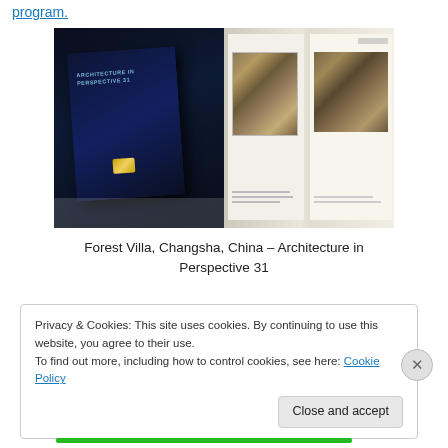program.
[Figure (photo): Two photos side by side: left shows a dark book cover (Architecture in Perspective 31) on a white surface; right shows the book open to a page with an interior rendering image of Forest Villa, Changsha, China.]
Forest Villa, Changsha, China – Architecture in Perspective 31
Privacy & Cookies: This site uses cookies. By continuing to use this website, you agree to their use.
To find out more, including how to control cookies, see here: Cookie Policy
Close and accept